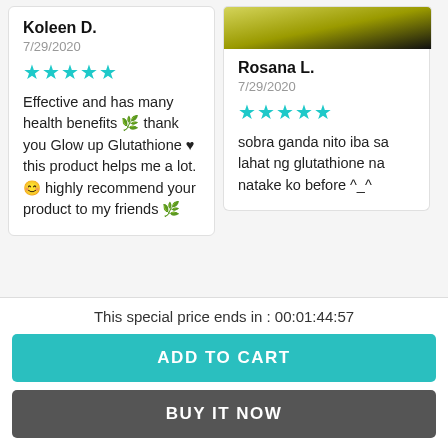Koleen D.
7/29/2020
★★★★★
Effective and has many health benefits 🌿 thank you Glow up Glutathione ♥ this product helps me a lot. 😊 highly recommend your product to my friends 🌿
[Figure (photo): Product photo at top of right review card]
Rosana L.
7/29/2020
★★★★★
sobra ganda nito iba sa lahat ng glutathione na natake ko before ^_^
This special price ends in : 00:01:44:57
ADD TO CART
BUY IT NOW